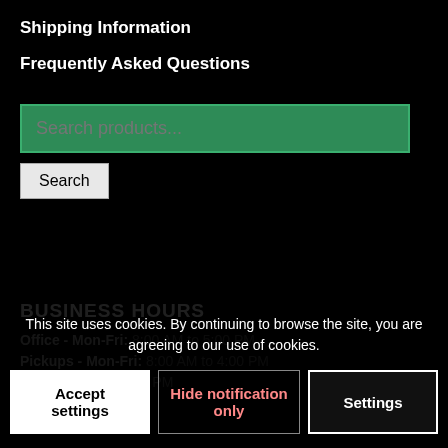Shipping Information
Frequently Asked Questions
Search products...
Search
BUSINESS HOURS
Office - Mon-Fri: 8:00 AM to 5:00 PM
Pickups - Mon-Fri: 8:00 AM to 4:00 PM
Sat: 8:00 AM to 3:00 PM
Tel: (626) 575-8232
This site uses cookies. By continuing to browse the site, you are agreeing to our use of cookies.
Accept settings
Hide notification only
Settings